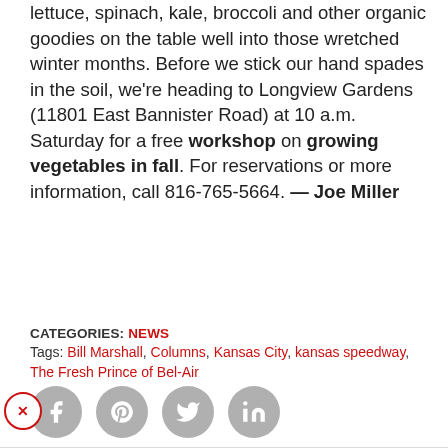lettuce, spinach, kale, broccoli and other organic goodies on the table well into those wretched winter months. Before we stick our hand spades in the soil, we're heading to Longview Gardens (11801 East Bannister Road) at 10 a.m. Saturday for a free workshop on growing vegetables in fall. For reservations or more information, call 816-765-5664. — Joe Miller
CATEGORIES: NEWS
Tags: Bill Marshall, Columns, Kansas City, kansas speedway, The Fresh Prince of Bel-Air